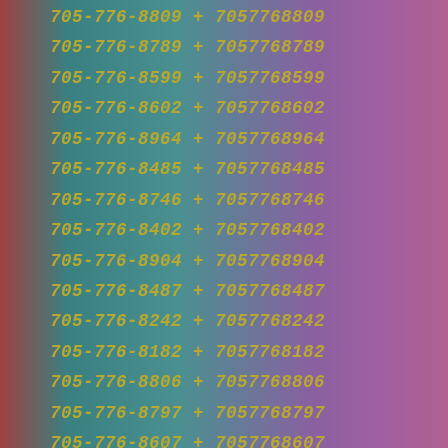705-776-8809 + 7057768809
705-776-8789 + 7057768789
705-776-8599 + 7057768599
705-776-8602 + 7057768602
705-776-8964 + 7057768964
705-776-8485 + 7057768485
705-776-8746 + 7057768746
705-776-8402 + 7057768402
705-776-8904 + 7057768904
705-776-8487 + 7057768487
705-776-8242 + 7057768242
705-776-8182 + 7057768182
705-776-8806 + 7057768806
705-776-8797 + 7057768797
705-776-8607 + 7057768607
705-776-8223 + 7057768223
705-776-8908 + 7057768908
705-776-8013 + 7057768013
705-776-8479 + 7057768479
705-776-8491 + 7057768491
705-776-8519 + 7057768519
705-776-8969 + 7057768969
705-776-8257 + 7057768257